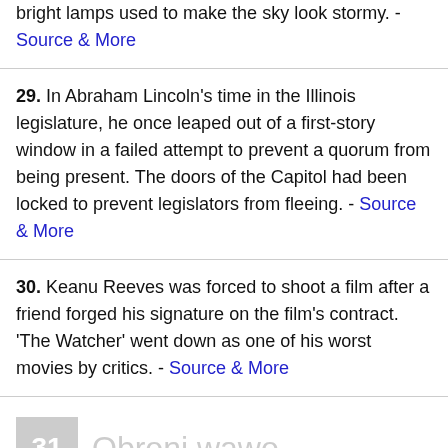bright lamps used to make the sky look stormy. - Source & More
29. In Abraham Lincoln's time in the Illinois legislature, he once leaped out of a first-story window in a failed attempt to prevent a quorum from being present. The doors of the Capitol had been locked to prevent legislators from fleeing. - Source & More
30. Keanu Reeves was forced to shoot a film after a friend forged his signature on the film's contract. 'The Watcher' went down as one of his worst movies by critics. - Source & More
31. Obroni wawo